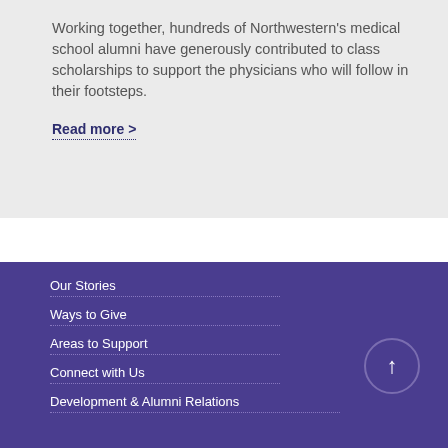Working together, hundreds of Northwestern's medical school alumni have generously contributed to class scholarships to support the physicians who will follow in their footsteps.
Read more >
Our Stories
Ways to Give
Areas to Support
Connect with Us
Development & Alumni Relations